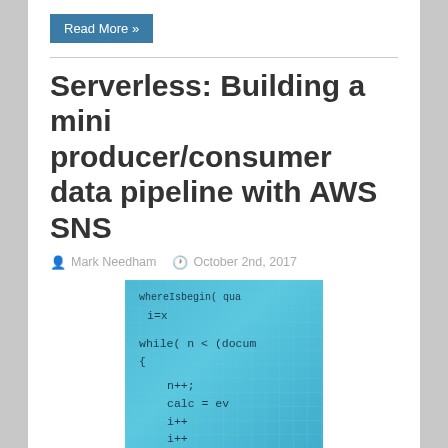Read More »
Serverless: Building a mini producer/consumer data pipeline with AWS SNS
Mark Needham   October 2nd, 2017
[Figure (screenshot): Screenshot of code editor showing JavaScript/programming code with while loop and variable assignments on a blue grid background]
I wanted to create a little data pipeline with Serverless whose main use would be to run once a day, call an API, and load that data into a database.